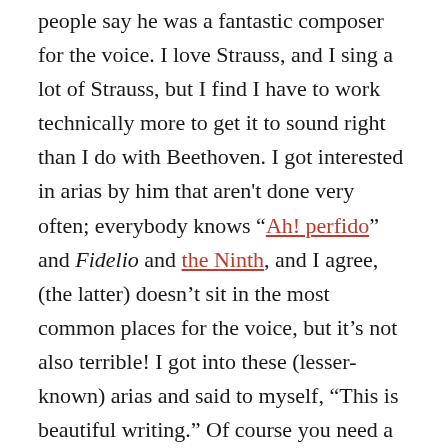people say he was a fantastic composer for the voice. I love Strauss, and I sing a lot of Strauss, but I find I have to work technically more to get it to sound right than I do with Beethoven. I got interested in arias by him that aren't done very often; everybody knows "Ah! perfido" and Fidelio and the Ninth, and I agree, (the latter) doesn't sit in the most common places for the voice, but it's not also terrible! I got into these (lesser-known) arias and said to myself, "This is beautiful writing." Of course you need a vocal plan and a dramatic plan but I think you need it for any concert aria, whether it's Mozart or Haydn, and Beethoven is no different; there is beautiful dramatic development, lots of colors, it's really a showcase for a singer. Of course it requires a lot of thinking also, which singers do not always like to do